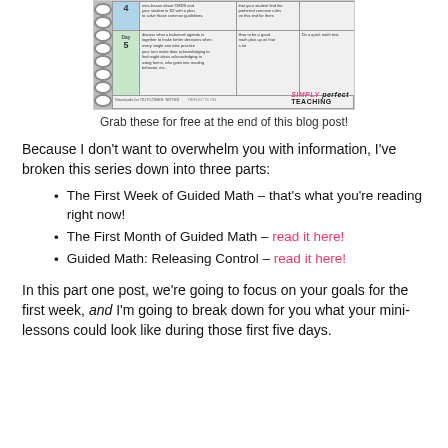[Figure (photo): A spiral notebook open to a weekly planner/schedule grid with rows labeled Day 4 and Day 5, showing small handwritten-style text in grid cells.]
Grab these for free at the end of this blog post!
Because I don't want to overwhelm you with information, I've broken this series down into three parts:
The First Week of Guided Math – that's what you're reading right now!
The First Month of Guided Math – read it here!
Guided Math: Releasing Control – read it here!
In this part one post, we're going to focus on your goals for the first week, and I'm going to break down for you what your mini-lessons could look like during those first five days.